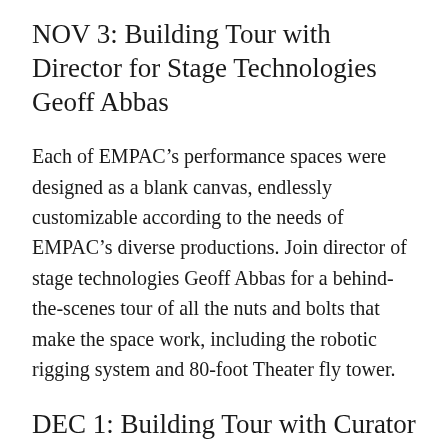NOV 3: Building Tour with Director for Stage Technologies Geoff Abbas
Each of EMPAC’s performance spaces were designed as a blank canvas, endlessly customizable according to the needs of EMPAC’s diverse productions. Join director of stage technologies Geoff Abbas for a behind-the-scenes tour of all the nuts and bolts that make the space work, including the robotic rigging system and 80-foot Theater fly tower.
DEC 1: Building Tour with Curator of Theater and Dance Ashley Ferro-Murray
Working across the disciplines of theater and